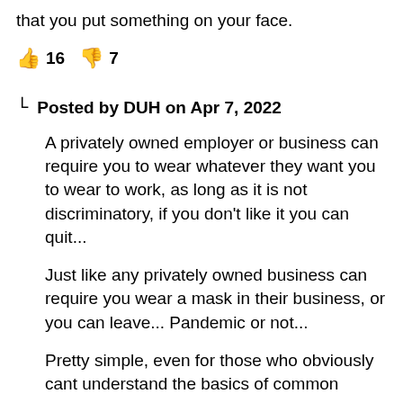that you put something on your face.
👍 16  👎 7
Posted by DUH on Apr 7, 2022
A privately owned employer or business can require you to wear whatever they want you to wear to work, as long as it is not discriminatory, if you don't like it you can quit...
Just like any privately owned business can require you wear a mask in their business, or you can leave... Pandemic or not...
Pretty simple, even for those who obviously cant understand the basics of common sense...